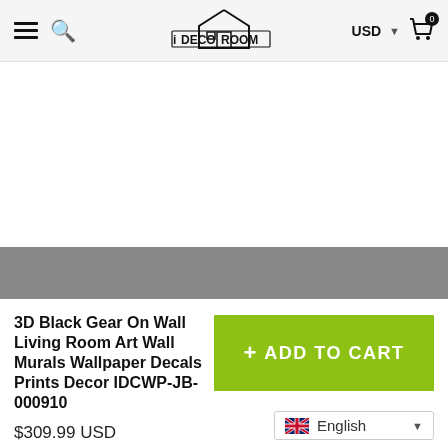iDECOROOM — USD — Cart (0)
[Figure (other): Product image area (white/blank) with gray band below representing product wallpaper mural image placeholder]
3D Black Gear On Wall Living Room Art Wall Murals Wallpaper Decals Prints Decor IDCWP-JB-000910
$309.99 USD